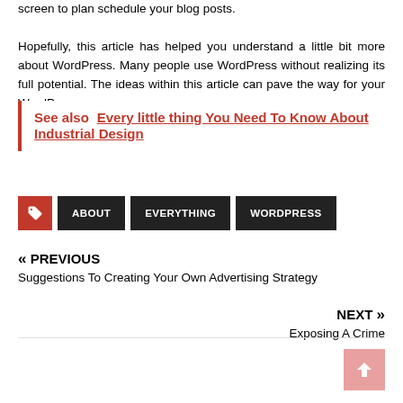screen to plan schedule your blog posts.

Hopefully, this article has helped you understand a little bit more about WordPress. Many people use WordPress without realizing its full potential. The ideas within this article can pave the way for your WordPress success.
See also  Every little thing You Need To Know About Industrial Design
ABOUT
EVERYTHING
WORDPRESS
« PREVIOUS
Suggestions To Creating Your Own Advertising Strategy
NEXT »
Exposing A Crime